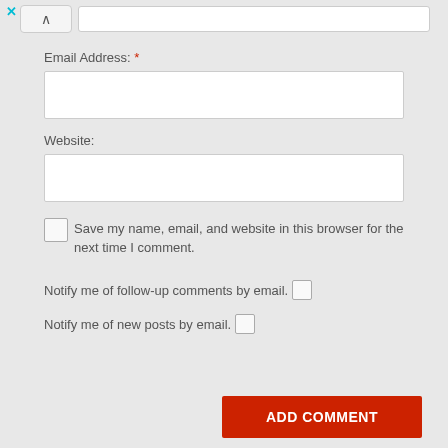[Figure (screenshot): Browser UI top bar with close X, chevron up button, and address/search input field]
Email Address: *
[Figure (screenshot): Empty email address text input field]
Website:
[Figure (screenshot): Empty website text input field]
Save my name, email, and website in this browser for the next time I comment.
Notify me of follow-up comments by email.
Notify me of new posts by email.
ADD COMMENT